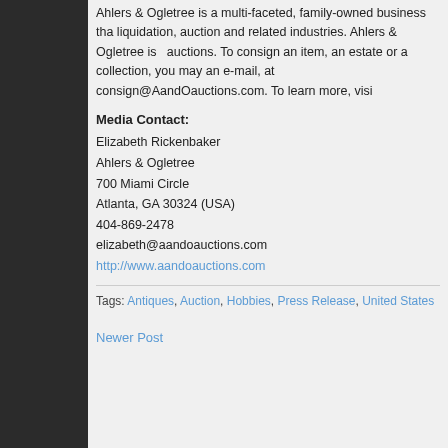Ahlers & Ogletree is a multi-faceted, family-owned business tha... liquidation, auction and related industries. Ahlers & Ogletree is ... auctions. To consign an item, an estate or a collection, you may... an e-mail, at consign@AandOauctions.com. To learn more, visi...
Media Contact:
Elizabeth Rickenbaker
Ahlers & Ogletree
700 Miami Circle
Atlanta, GA 30324 (USA)
404-869-2478
elizabeth@aandoauctions.com
http://www.aandoauctions.com
Tags: Antiques, Auction, Hobbies, Press Release, United States
Newer Post